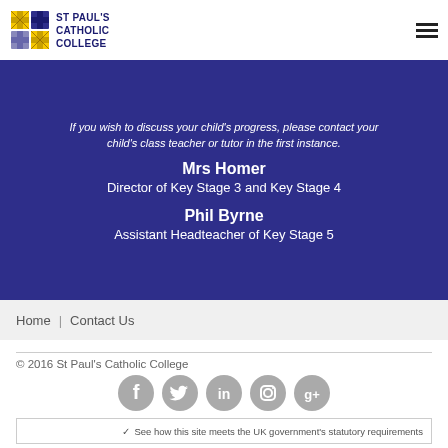St Paul's Catholic College
If you wish to discuss your child's progress, please contact your child's class teacher or tutor in the first instance.
Mrs Homer
Director of Key Stage 3 and Key Stage 4
Phil Byrne
Assistant Headteacher of Key Stage 5
Home | Contact Us
© 2016 St Paul's Catholic College
[Figure (illustration): Social media icons: Facebook, Twitter, LinkedIn, Instagram, Google+]
✓ See how this site meets the UK government's statutory requirements